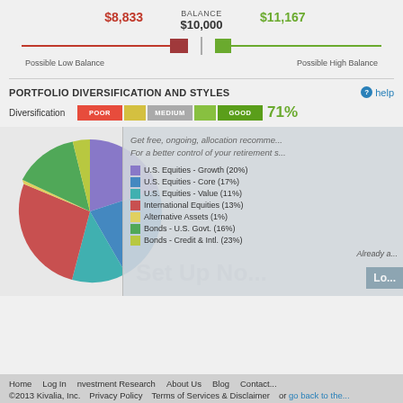[Figure (infographic): Balance range display showing Possible Low Balance of $8,833 on left with red bar indicator at $10,000 center balance, and Possible High Balance of $11,167 on right with green bar indicator]
PORTFOLIO DIVERSIFICATION AND STYLES
[Figure (infographic): Diversification rating bar showing POOR (red), MEDIUM (gray), GOOD (green) segments with current score of 71%]
[Figure (pie-chart): Portfolio Allocation]
Get free, ongoing, allocation recomme... For a better control of your retirement s...
Already a...
Home   Log In   Investment Research   About Us   Blog   Contact
©2013 Kivalia, Inc.   Privacy Policy   Terms of Services & Disclaimer   or go back to the...